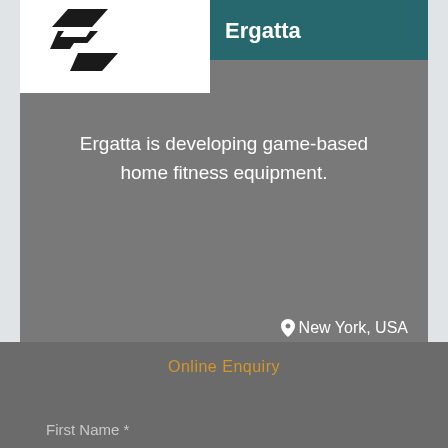[Figure (logo): Ergatta company logo: black geometric chevron/arrow shapes on white background, with company name 'Ergatta' in white text on teal header bar]
Ergatta is developing game-based home fitness equipment.
New York, USA
Online Enquiry
First Name *